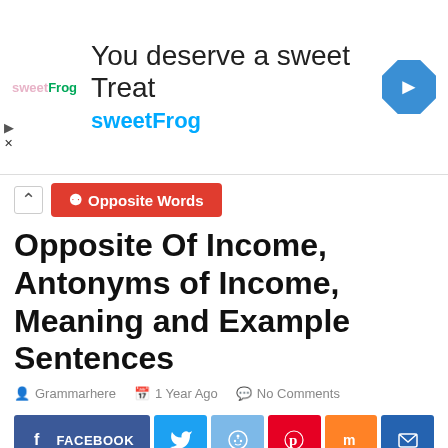[Figure (infographic): sweetFrog advertisement banner: 'You deserve a sweet Treat' with sweetFrog logo and blue diamond navigation icon]
Opposite Words
Opposite Of Income, Antonyms of Income, Meaning and Example Sentences
Grammarhere  1 Year Ago  No Comments
[Figure (infographic): Social sharing buttons: FACEBOOK, Twitter, Reddit, Pinterest, Mix, Email]
Opposite Of Income, Antonyms of Income, Meaning and Example Sentences